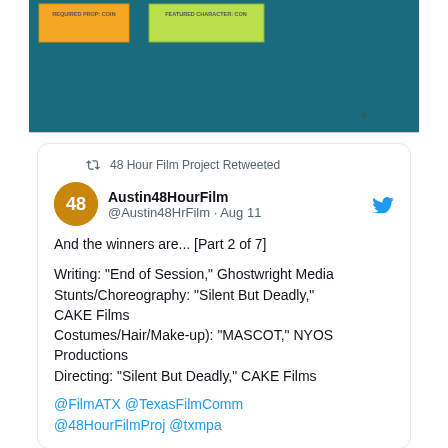[Figure (photo): Photo of sticky notes on a teal/dark blue board. One orange sticky note on the left and one green sticky note to the right, both with small printed text.]
48 Hour Film Project Retweeted
Austin48HourFilm @Austin48HrFilm · Aug 11
And the winners are... [Part 2 of 7]

Writing: “End of Session,” Ghostwright Media
stunts/Choreography: “Silent But Deadly,” CAKE Films
Costumes/Hair/Make-up): “MASCOT,” NYOS Productions
Directing: “Silent But Deadly,” CAKE Films
@FilmATX @TexasFilmComm @48HourFilmProj @txmpa